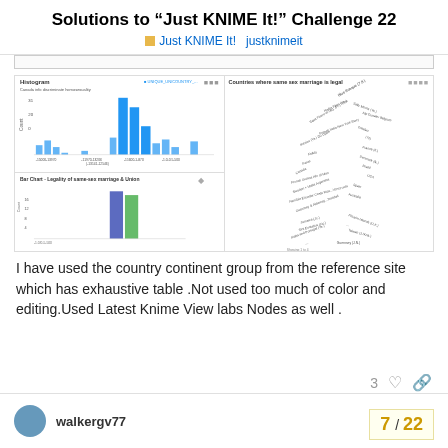Solutions to “Just KNIME It!” Challenge 22
Just KNIME It!   justknimeit
[Figure (screenshot): Screenshot of KNIME analytics platform showing a histogram titled 'Histogram' with subtitle 'Canada info discriminate homosexuality', a bar chart titled 'Bar Chart - Legality of same-sex marriage & Union', and a network/tree chart titled 'Countries where same sex marriage is legal']
I have used the country continent group from the reference site which has exhaustive table .Not used too much of color and editing.Used Latest Knime View labs Nodes as well .
3
walkergv77
7 / 22